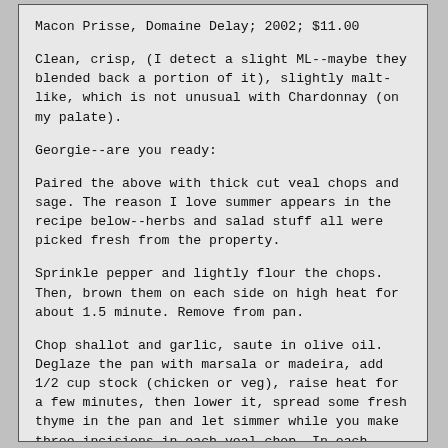Macon Prisse, Domaine Delay; 2002; $11.00
Clean, crisp, (I detect a slight ML--maybe they blended back a portion of it), slightly malt-like, which is not unusual with Chardonnay (on my palate).
Georgie--are you ready:
Paired the above with thick cut veal chops and sage. The reason I love summer appears in the recipe below--herbs and salad stuff all were picked fresh from the property.
Sprinkle pepper and lightly flour the chops. Then, brown them on each side on high heat for about 1.5 minute. Remove from pan.
Chop shallot and garlic, saute in olive oil. Deglaze the pan with marsala or madeira, add 1/2 cup stock (chicken or veg), raise heat for a few minutes, then lower it, spread some fresh thyme in the pan and let simmer while you make three incisions in each veal chop. In each incision stick a sage leaf. Put the chops in the pan with the garlic, shallots and thyme, add a little flour to help thicken the sauce, cover and simmer on low flame for about six minutes, or until the meat is done to your liking.
Some nice first season corn on the cob as